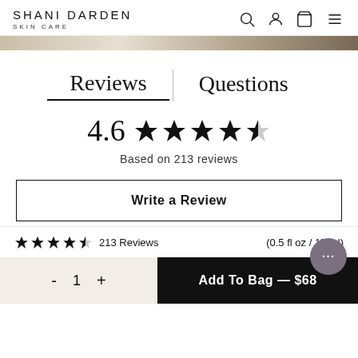SHANI DARDEN SKIN CARE
Reviews | Questions
4.6 ★★★★★ (4.6 out of 5 stars)
Based on 213 reviews
Write a Review
★★★★½ 213 Reviews   (0.5 fl oz / 15 ml)
- 1 +   Add To Bag — $68